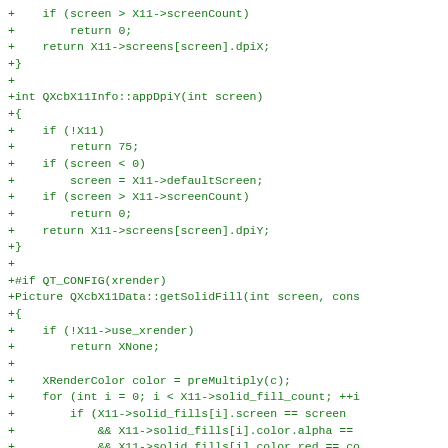Code diff showing C++ functions: appDpiY and getSolidFill with X11 rendering logic